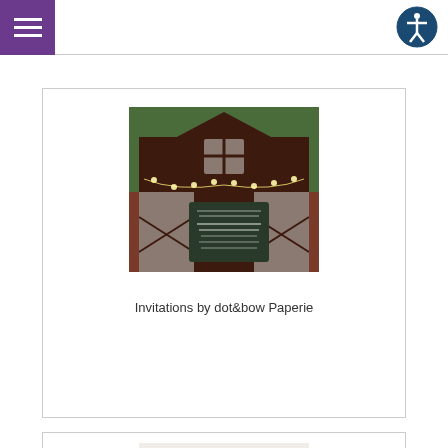Navigation bar with hamburger menu and accessibility icon
[Figure (photo): Wedding invitation displayed in front of a rustic barn with string lights and cross-pattern barn doors, outdoor setting with greenery]
Invitations by dot&bow Paperie
[Figure (photo): Partial view of a floral arrangement with white flowers, bottom portion visible]